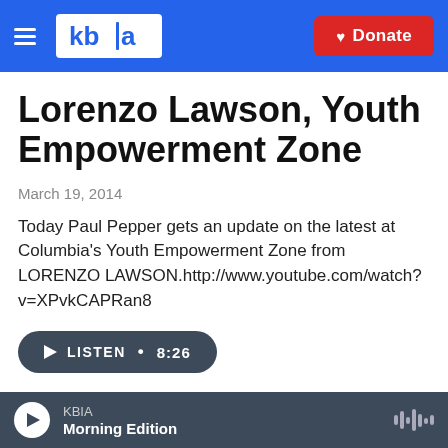KBIA | Donate
Lorenzo Lawson, Youth Empowerment Zone
March 19, 2014
Today Paul Pepper gets an update on the latest at Columbia's Youth Empowerment Zone from LORENZO LAWSON.http://www.youtube.com/watch?v=XPvkCAPRan8
LISTEN • 8:26
Vera Massey, University
KBIA Morning Edition